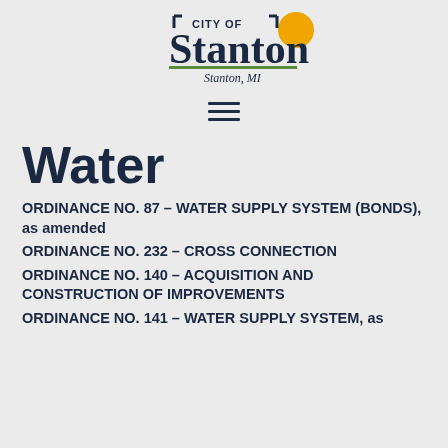[Figure (logo): City of Stanton, MI logo with text and sun graphic]
ORDINANCE NO. 87 – WATER SUPPLY SYSTEM (BONDS), as amended
ORDINANCE NO. 232 – CROSS CONNECTION
ORDINANCE NO. 140 – ACQUISITION AND CONSTRUCTION OF IMPROVEMENTS
ORDINANCE NO. 141 – WATER SUPPLY SYSTEM, as